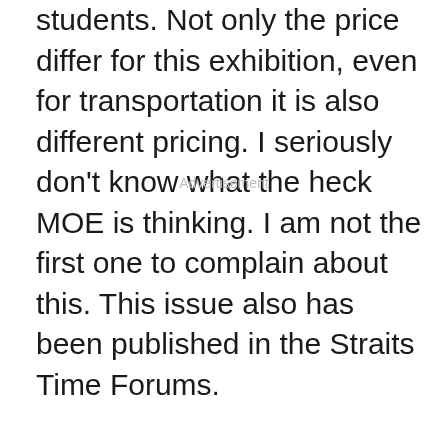students. Not only the price differ for this exhibition, even for transportation it is also different pricing. I seriously don't know what the heck MOE is thinking. I am not the first one to complain about this. This issue also has been published in the Straits Time Forums.
Advertisement